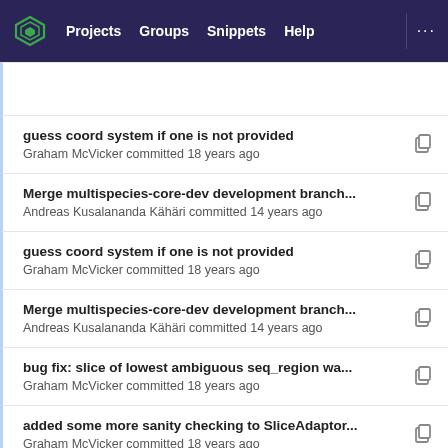Projects  Groups  Snippets  Help
guess coord system if one is not provided
Graham McVicker committed 18 years ago
Merge multispecies-core-dev development branch...
Andreas Kusalananda Kähäri committed 14 years ago
guess coord system if one is not provided
Graham McVicker committed 18 years ago
Merge multispecies-core-dev development branch...
Andreas Kusalananda Kähäri committed 14 years ago
bug fix: slice of lowest ambiguous seq_region wa...
Graham McVicker committed 18 years ago
added some more sanity checking to SliceAdaptor...
Graham McVicker committed 18 years ago
warn about ambiguous results when performing f...
Patrick Meidl committed 16 years ago